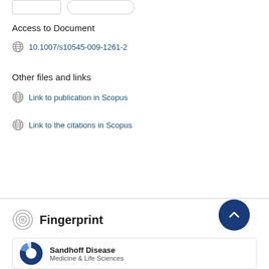Access to Document
10.1007/s10545-009-1261-2
Other files and links
Link to publication in Scopus
Link to the citations in Scopus
Fingerprint
Dive into the research topics of 'Substrate deprivation therapy in juvenile Sandhoff disease'. Together they form a unique fingerprint.
Sandhoff Disease
Medicine & Life Sciences